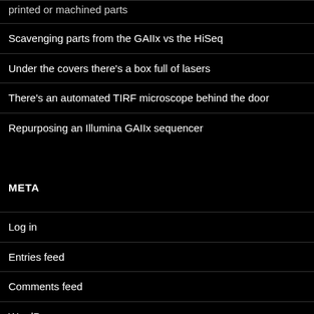printed or machined parts
Scavenging parts from the GAIIx vs the HiSeq
Under the covers there's a box full of lasers
There's an automated TIRF microscope behind the door
Repurposing an Illumina GAIIx sequencer
META
Log in
Entries feed
Comments feed
WordPress.org